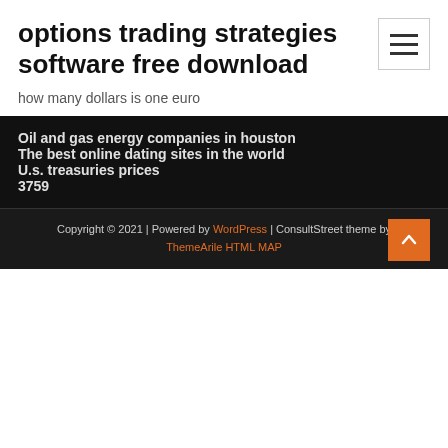options trading strategies software free download
how many dollars is one euro
Oil and gas energy companies in houston
The best online dating sites in the world
U.s. treasuries prices
3759
Copyright © 2021 | Powered by WordPress | ConsultStreet theme by ThemeArile HTML MAP